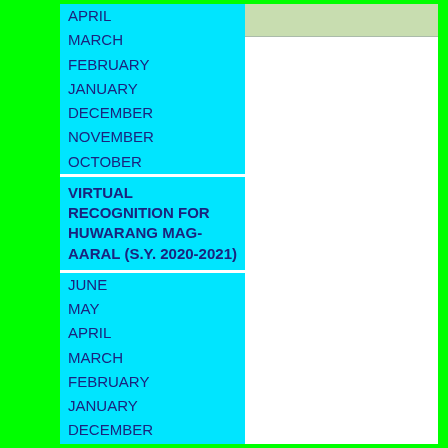APRIL
MARCH
FEBRUARY
JANUARY
DECEMBER
NOVEMBER
OCTOBER
VIRTUAL RECOGNITION FOR HUWARANG MAG-AARAL (S.Y. 2020-2021)
JUNE
MAY
APRIL
MARCH
FEBRUARY
JANUARY
DECEMBER
NOVEMBER
OCTOBER
[Figure (other): Light green/grey rectangular image area at top right]